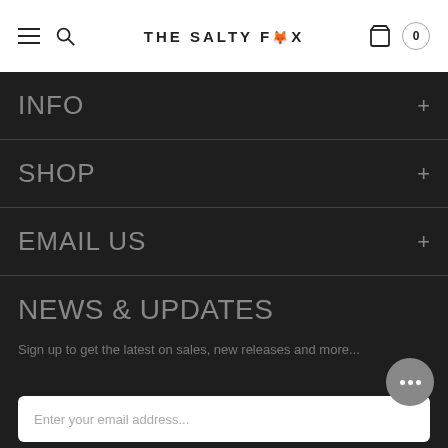THE SALTY FOX
INFO
SHOP
EMAIL US
NEWS & UPDATES
Sign up to get the latest on sales, new releases and more...
Enter your email address...